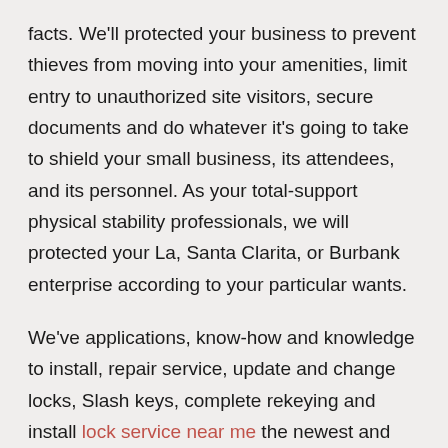facts. We'll protected your business to prevent thieves from moving into your amenities, limit entry to unauthorized site visitors, secure documents and do whatever it's going to take to shield your small business, its attendees, and its personnel. As your total-support physical stability professionals, we will protected your La, Santa Clarita, or Burbank enterprise according to your particular wants.
We've applications, know-how and knowledge to install, repair service, update and change locks, Slash keys, complete rekeying and install lock service near me the newest and sophisticated stability techniques.
We take delight in getting amassed an unbelievable group of locksmiths who have accrued comprehensive